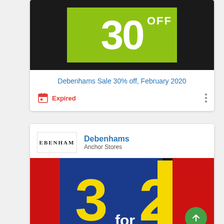[Figure (photo): Green banner with '30 OFF' text on black background — Debenhams 30% off sale promotional image]
Debenhams Sale 30% off, February 2020
Expired
[Figure (logo): Debenhams store logo partial text 'EBENHAM']
Debenhams
Anchor Stores
[Figure (photo): 3 for 2 promotional image with large yellow '3 for 2' text on blue and red cards]